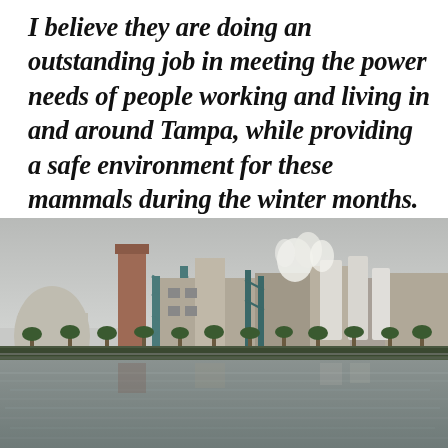I believe they are doing an outstanding job in meeting the power needs of people working and living in and around Tampa, while providing a safe environment for these mammals during the winter months.
[Figure (photo): Industrial power plant with tall stacks, silos, and structures emitting steam, viewed across a calm waterway reflecting the facility. Palm trees line the foreground bank between the plant and the water.]